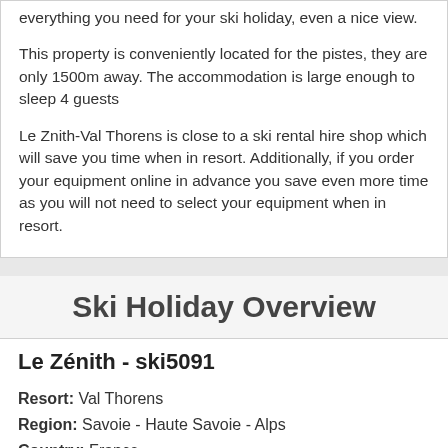everything you need for your ski holiday, even a nice view.
This property is conveniently located for the pistes, they are only 1500m away. The accommodation is large enough to sleep 4 guests
Le Znith-Val Thorens is close to a ski rental hire shop which will save you time when in resort. Additionally, if you order your equipment online in advance you save even more time as you will not need to select your equipment when in resort.
Ski Holiday Overview
Le Zénith - ski5091
Resort: Val Thorens
Region: Savoie - Haute Savoie - Alps
Country: France